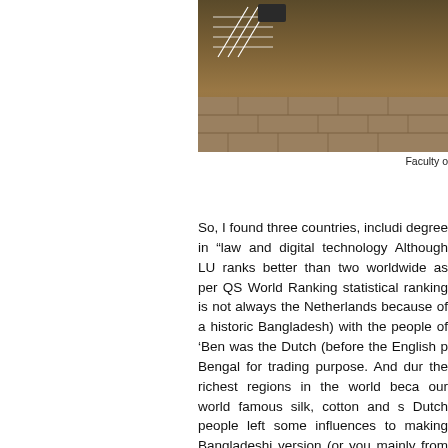[Figure (photo): Partial photo of a building exterior with structural lattice/scaffolding visible, brick/stone wall surface]
Faculty o
So, I found three countries, includi degree in “law and digital technology Although LU ranks better than two worldwide as per QS World Ranking statistical ranking is not always the Netherlands because of a historic Bangladesh) with the people of ‘Ben was the Dutch (before the English p Bengal for trading purpose. And dur the richest regions in the world beca our world famous silk, cotton and s Dutch people left some influences to making Bangladeshi version (or you mainly from the Portuguese and D Dutch words like Iskrup (from origin Turup (from original troef) etc.